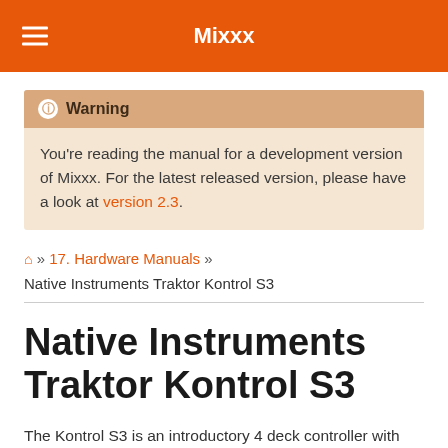Mixxx
Warning
You're reading the manual for a development version of Mixxx. For the latest released version, please have a look at version 2.3.
🏠 » 17. Hardware Manuals » Native Instruments Traktor Kontrol S3
Native Instruments Traktor Kontrol S3
The Kontrol S3 is an introductory 4 deck controller with